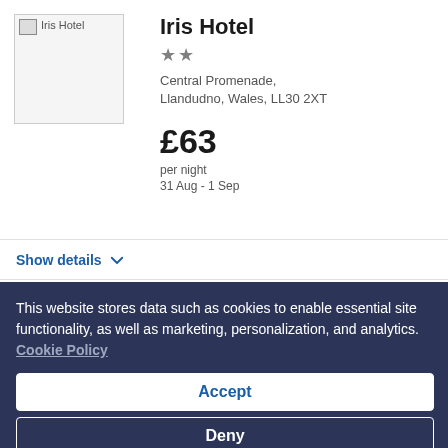[Figure (photo): Placeholder image for Iris Hotel with broken image icon and alt text 'Iris Hotel']
Iris Hotel
★★
Central Promenade, Llandudno, Wales, LL30 2XT
£63
per night
31 Aug - 1 Sep
Show details ∨
This website stores data such as cookies to enable essential site functionality, as well as marketing, personalization, and analytics. Cookie Policy
Accept
Deny